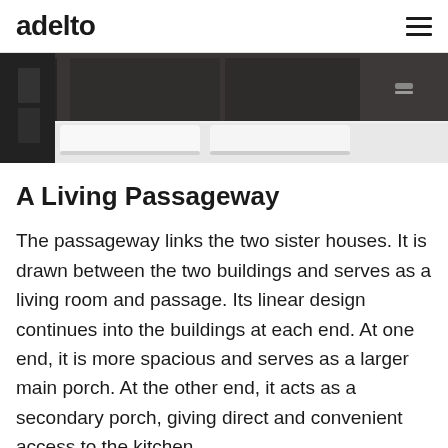adelto
[Figure (photo): Interior bedroom photo showing dark wooden furniture headboard and white bedding, with dark cabinetry and a door handle visible in the background]
A Living Passageway
The passageway links the two sister houses. It is drawn between the two buildings and serves as a living room and passage. Its linear design continues into the buildings at each end. At one end, it is more spacious and serves as a larger main porch. At the other end, it acts as a secondary porch, giving direct and convenient access to the kitchen,